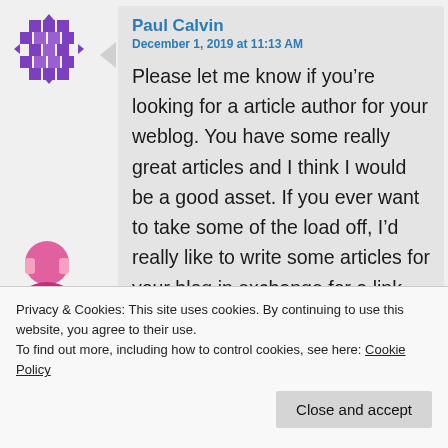[Figure (illustration): Purple pixelated avatar icon with grid/move pattern]
Paul Calvin
December 1, 2019 at 11:13 AM
Please let me know if you're looking for a article author for your weblog. You have some really great articles and I think I would be a good asset. If you ever want to take some of the load off, I'd really like to write some articles for your blog in exchange for a link back to mine. Please blast me an e-mail if interested. Cheers!
Privacy & Cookies: This site uses cookies. By continuing to use this website, you agree to their use.
To find out more, including how to control cookies, see here: Cookie Policy
Close and accept
[Figure (illustration): Partially visible pink/purple avatar icon at bottom]